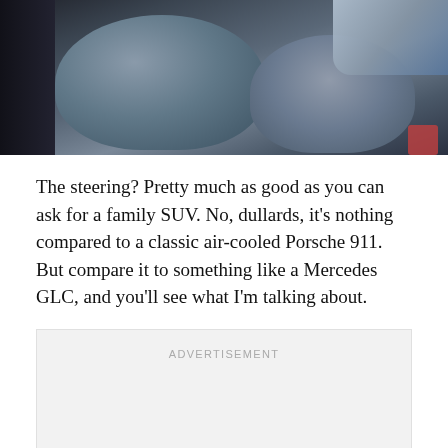[Figure (photo): Car interior showing leather seats, center console, and dashboard area photographed from above/side angle]
The steering? Pretty much as good as you can ask for a family SUV. No, dullards, it's nothing compared to a classic air-cooled Porsche 911. But compare it to something like a Mercedes GLC, and you'll see what I'm talking about.
[Figure (other): Advertisement placeholder box with 'ADVERTISEMENT' label]